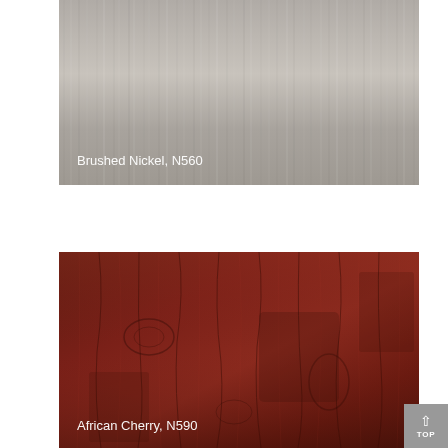[Figure (photo): Brushed Nickel material swatch labeled 'Brushed Nickel, N560'. A metallic gray brushed nickel texture with vertical grain pattern.]
[Figure (photo): African Cherry material swatch labeled 'African Cherry, N590'. A dark reddish-brown wood grain texture with visible wood patterns.]